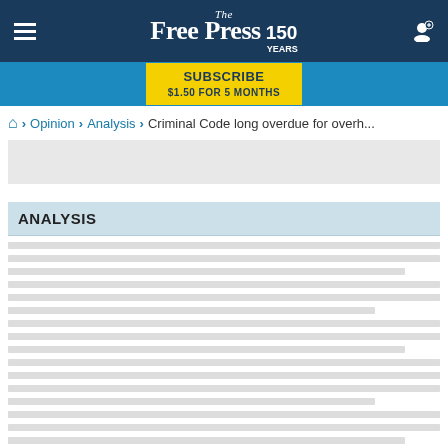The Free Press 150 Years
SUBSCRIBE $1.50 FOR 5 MONTHS
🏠 > Opinion > Analysis > Criminal Code long overdue for overh...
[Figure (other): Gray advertisement placeholder box]
ANALYSIS
[Figure (other): Placeholder lines representing article content in the Analysis section]
LOAD MORE ANALYSIS